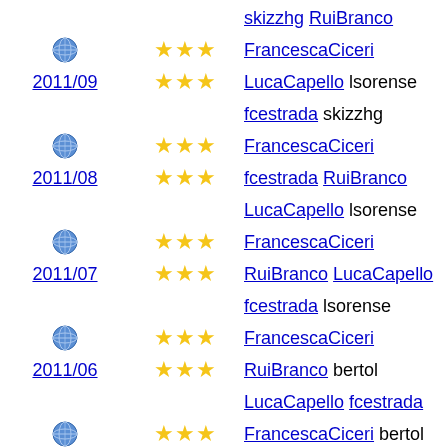skizzhg RuiBranco
[globe] [3stars] FrancescaCiceri
2011/09 [2stars] LucaCapello lsorense
fcestrada skizzhg
[globe] [3stars] FrancescaCiceri
2011/08 [2stars] fcestrada RuiBranco
LucaCapello lsorense
[globe] [3stars] FrancescaCiceri
2011/07 [2stars] RuiBranco LucaCapello
fcestrada lsorense
[globe] [3stars] FrancescaCiceri
2011/06 [2stars] RuiBranco bertol
LucaCapello fcestrada
[globe] [3stars] FrancescaCiceri bertol
2011/05 [2stars] LucaCapello RuiBranco
fcestrada
[globe] [3stars] FrancescaCiceri
2011/04 [2stars] DidierRaboud
AlexanderReshetov